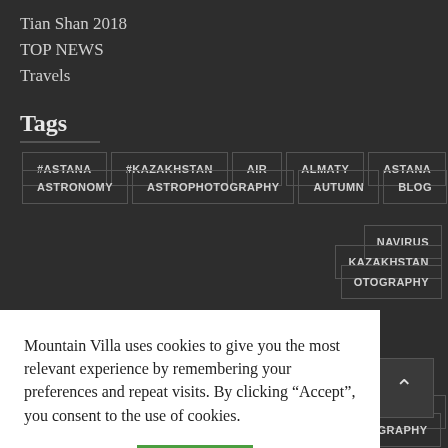Tian Shan 2018
TOP NEWS
Travels
Tags
#ASTANA
#KAZAKHSTAN
AIR
ALMATY
ASTANA
ASTRONOMY
ASTROPHOTOGRAPHY
AUTUMN
BLOG
NAVIRUS
KAZAKHSTAN
OTOGRAPHY
Mountain Villa uses cookies to give you the most relevant experience by remembering your preferences and repeat visits. By clicking “Accept”, you consent to the use of cookies.
Cookie settings
ACCEPT
MACROPHOTOGRAPHY
MALBORK
MOON